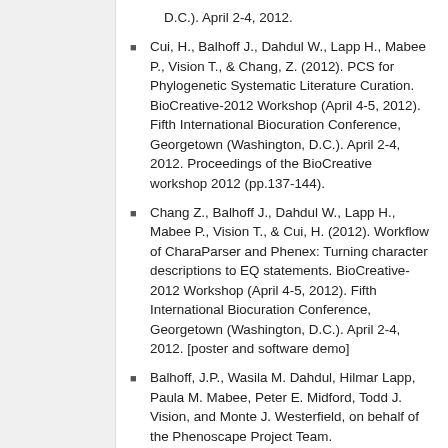D.C.). April 2-4, 2012.
Cui, H., Balhoff J., Dahdul W., Lapp H., Mabee P., Vision T., & Chang, Z. (2012). PCS for Phylogenetic Systematic Literature Curation. BioCreative-2012 Workshop (April 4-5, 2012). Fifth International Biocuration Conference, Georgetown (Washington, D.C.). April 2-4, 2012. Proceedings of the BioCreative workshop 2012 (pp.137-144).
Chang Z., Balhoff J., Dahdul W., Lapp H., Mabee P., Vision T., & Cui, H. (2012). Workflow of CharaParser and Phenex: Turning character descriptions to EQ statements. BioCreative-2012 Workshop (April 4-5, 2012). Fifth International Biocuration Conference, Georgetown (Washington, D.C.). April 2-4, 2012. [poster and software demo]
Balhoff, J.P., Wasila M. Dahdul, Hilmar Lapp, Paula M. Mabee, Peter E. Midford, Todd J. Vision, and Monte J. Westerfield, on behalf of the Phenoscape Project Team.